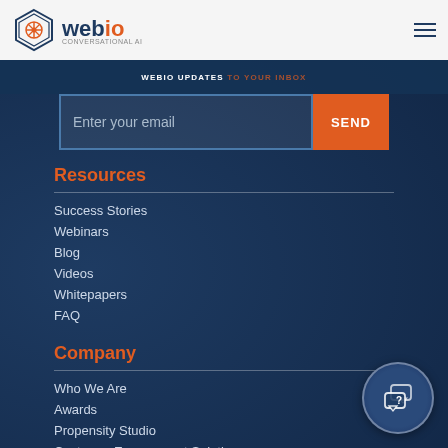[Figure (logo): Webio logo with hexagon icon and company name]
WEBIO UPDATES TO YOUR INBOX
Enter your email | SEND
Resources
Success Stories
Webinars
Blog
Videos
Whitepapers
FAQ
Company
Who We Are
Awards
Propensity Studio
Customer Engagement Solution